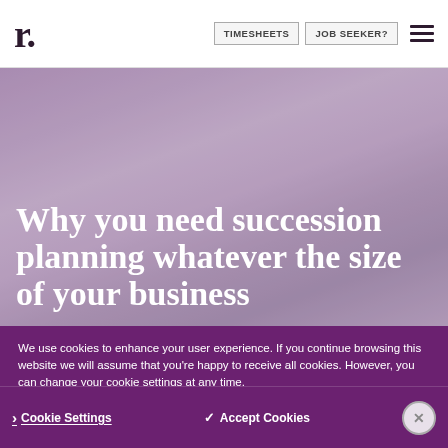r. | TIMESHEETS | JOB SEEKER?
Why you need succession planning whatever the size of your business
We use cookies to enhance your user experience. If you continue browsing this website we will assume that you're happy to receive all cookies. However, you can change your cookie settings at any time.
Cookie Settings | Accept Cookies